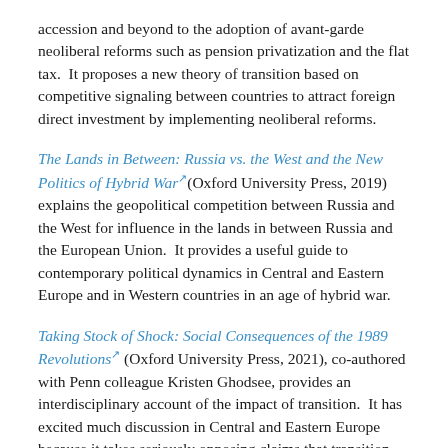accession and beyond to the adoption of avant-garde neoliberal reforms such as pension privatization and the flat tax.  It proposes a new theory of transition based on competitive signaling between countries to attract foreign direct investment by implementing neoliberal reforms.
The Lands in Between: Russia vs. the West and the New Politics of Hybrid War (Oxford University Press, 2019) explains the geopolitical competition between Russia and the West for influence in the lands in between Russia and the European Union.  It provides a useful guide to contemporary political dynamics in Central and Eastern Europe and in Western countries in an age of hybrid war.
Taking Stock of Shock: Social Consequences of the 1989 Revolutions (Oxford University Press, 2021), co-authored with Penn colleague Kristen Ghodsee, provides an interdisciplinary account of the impact of transition.  It has excited much discussion in Central and Eastern Europe because it takes seriously opposing claims that transition produced both very positive and very negative consequences for post-communist populations.  It provides data to support both sides of this debate and